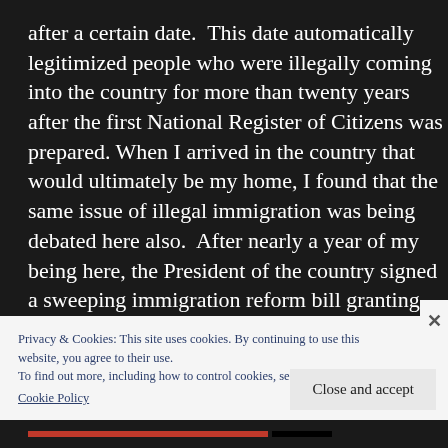after a certain date.  This date automatically legitimized people who were illegally coming into the country for more than twenty years after the first National Register of Citizens was prepared. When I arrived in the country that would ultimately be my home, I found that the same issue of illegal immigration was being debated here also.  After nearly a year of my being here, the President of the country signed a sweeping immigration reform bill granting amnesty to nearly three million immigrants.
Privacy & Cookies: This site uses cookies. By continuing to use this website, you agree to their use.
To find out more, including how to control cookies, see here:
Cookie Policy
Close and accept